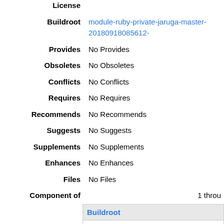| Field | Value |
| --- | --- |
| License |  |
| Buildroot | module-ruby-private-jaruga-master-20180918085612-... |
| Provides | No Provides |
| Obsoletes | No Obsoletes |
| Conflicts | No Conflicts |
| Requires | No Requires |
| Recommends | No Recommends |
| Suggests | No Suggests |
| Supplements | No Supplements |
| Enhances | No Enhances |
| Files | No Files |
| Component of | 1 throu... |
| Buildroot |
| --- |
| module-ruby-private-jaruga-master-20180918085612-13760272-994887 |
| module-ruby-private-jaruga-master-20180918085612-13760274-994887 |
| module-ruby-private-jaruga-master-20180918085612-13760280-994887 |
| module-ruby-private-jaruga-master-20180918085612-13760283-994887 |